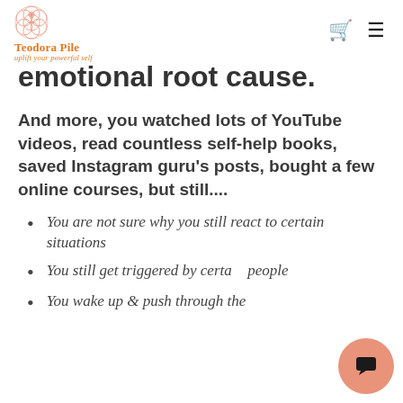Teodora Pile — uplift your powerful self
emotional root cause.
And more, you watched lots of YouTube videos, read countless self-help books, saved Instagram guru's posts, bought a few online courses, but still....
You are not sure why you still react to certain situations
You still get triggered by certain people
You wake up & push through the